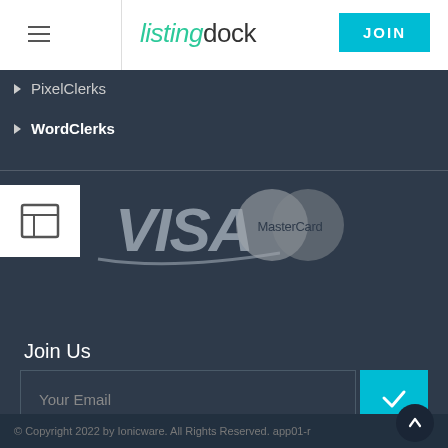listingdock — JOIN
PixelClerks
WordClerks
[Figure (logo): VISA payment logo in light grey/white on dark background]
[Figure (logo): MasterCard payment logo with two overlapping grey circles]
Join Us
Your Email
© Copyright 2022 by Ionicware. All Rights Reserved. app01-r